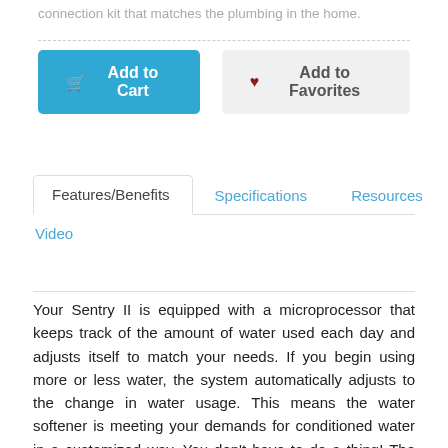connection kit that matches the plumbing in the home.
Add to Cart
Add to Favorites
Features/Benefits
Specifications
Resources
Video
Your Sentry II is equipped with a microprocessor that keeps track of the amount of water used each day and adjusts itself to match your needs. If you begin using more or less water, the system automatically adjusts to the change in water usage. This means the water softener is meeting your demands for conditioned water in a customized way. You don't have to do a thing! The system does not regenerate unless it needs to. This saves you up to 50% in salt and uses less water making it more environmentally efficient. The Sentry II concept of